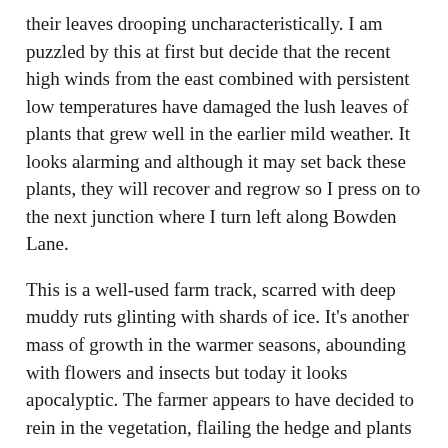their leaves drooping uncharacteristically.  I am puzzled by this at first but decide that the recent high winds from the east combined with persistent low temperatures have damaged the lush leaves of plants that grew well in the earlier mild weather.  It looks alarming and although it may set back these plants, they will recover and regrow so I press on to the next junction where I turn left along Bowden Lane.
This is a well-used farm track, scarred with deep muddy ruts glinting with shards of ice.  It's another mass of growth in the warmer seasons, abounding with flowers and insects but today it looks apocalyptic.  The farmer appears to have decided to rein in the vegetation, flailing the hedge and plants growing there, spreading the cuttings across the high banks that line the lane.  A thick brown layer of coarse fragments of wood and leaves covers both sides smothering any new growth, so that the lane looks dead.   I don't hang around here, there is nothing to see, the wind is bitter and a little snow is now falling.   The lane ends at a four-way junction and I walk on to the minor